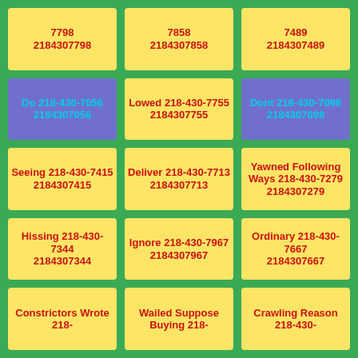7798 2184307798
7858 2184307858
7489 2184307489
Do 218-430-7056 2184307056
Lowed 218-430-7755 2184307755
Dont 218-430-7098 2184307098
Seeing 218-430-7415 2184307415
Deliver 218-430-7713 2184307713
Yawned Following Ways 218-430-7279 2184307279
Hissing 218-430-7344 2184307344
Ignore 218-430-7967 2184307967
Ordinary 218-430-7667 2184307667
Constrictors Wrote 218-
Wailed Suppose Buying 218-
Crawling Reason 218-430-